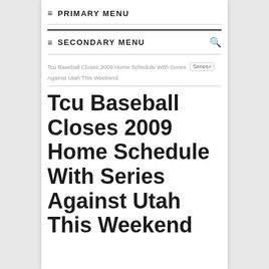≡ PRIMARY MENU
≡ SECONDARY MENU 🔍
Tcu Baseball Closes 2009 Home Schedule With Series Against Utah This Weekend
Tcu Baseball Closes 2009 Home Schedule With Series Against Utah This Weekend